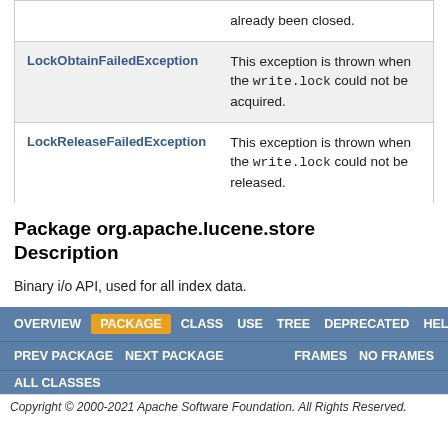| Exception | Description |
| --- | --- |
| LockObtainFailedException | This exception is thrown when the write.lock could not be acquired. |
| LockReleaseFailedException | This exception is thrown when the write.lock could not be released. |
Package org.apache.lucene.store Description
Binary i/o API, used for all index data.
OVERVIEW  PACKAGE  CLASS  USE  TREE  DEPRECATED  HELP
PREV PACKAGE  NEXT PACKAGE  FRAMES  NO FRAMES  ALL CLASSES
Copyright © 2000-2021 Apache Software Foundation. All Rights Reserved.